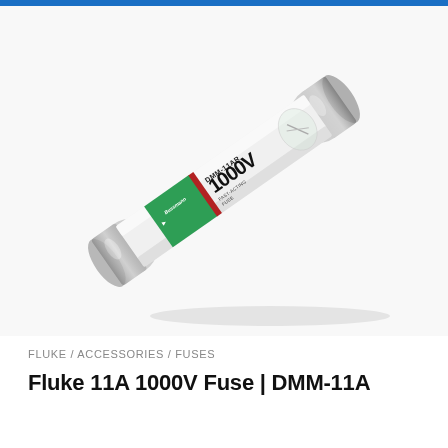[Figure (photo): A Bussmann DMM-11AR 1000V fast-acting fuse photographed at an angle. The cylindrical fuse has silver metal end caps and a white body with a green and red stripe band. The label reads 'Bussmann', '1000V', 'FAST-ACTING FUSE', 'DMM-11AR'.]
FLUKE / ACCESSORIES / FUSES
Fluke 11A 1000V Fuse | DMM-11A